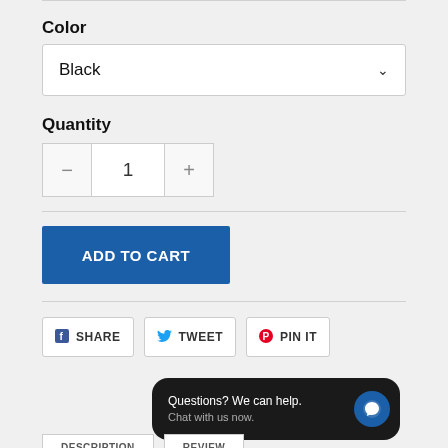Color
Black
Quantity
1
ADD TO CART
SHARE   TWEET   PIN IT
Questions? We can help. Chat with us now.
DESCRIPTION   REVIEW